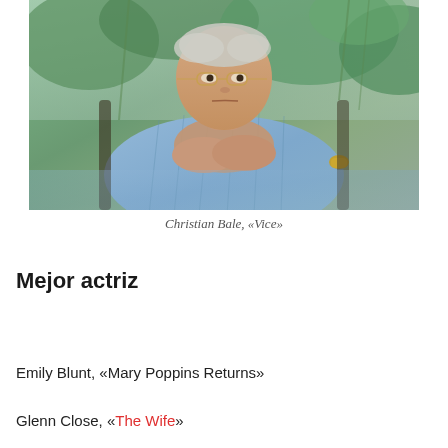[Figure (photo): Christian Bale in character as Dick Cheney in the film Vice, wearing glasses and a light blue plaid blazer, resting his chin on clasped hands, with greenery in the background]
Christian Bale, «Vice»
Mejor actriz
Emily Blunt, «Mary Poppins Returns»
Glenn Close, «The Wife»